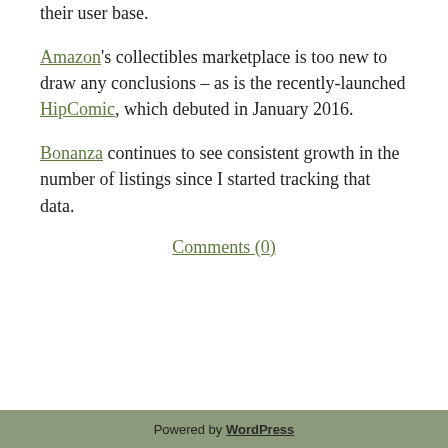their user base. Amazon's collectibles marketplace is too new to draw any conclusions – as is the recently-launched HipComic, which debuted in January 2016.
Bonanza continues to see consistent growth in the number of listings since I started tracking that data.
Comments (0)
Powered by WordPress